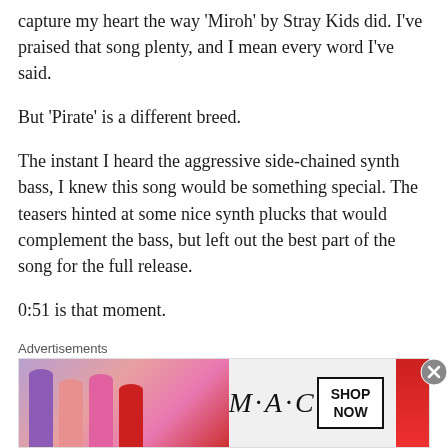capture my heart the way ‘Miroh’ by Stray Kids did. I’ve praised that song plenty, and I mean every word I’ve said.
But ‘Pirate’ is a different breed.
The instant I heard the aggressive side-chained synth bass, I knew this song would be something special. The teasers hinted at some nice synth plucks that would complement the bass, but left out the best part of the song for the full release.
0:51 is that moment.
Holy shit man. The progression of this instrumental is euphoric and super nostalgic – taking me back to the early 2010 days of Avicii, Zedd, and David Guetta. I’m still unsure
Advertisements
[Figure (photo): MAC Cosmetics advertisement banner showing lipsticks in purple, pink, and red shades, with the MAC logo and a SHOP NOW button.]